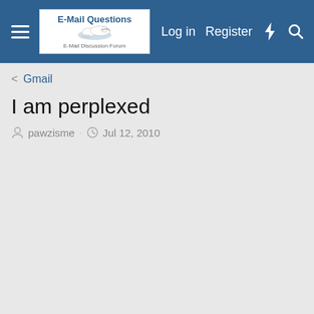E-Mail Questions | Log in | Register
Gmail
I am perplexed
pawzisme · Jul 12, 2010